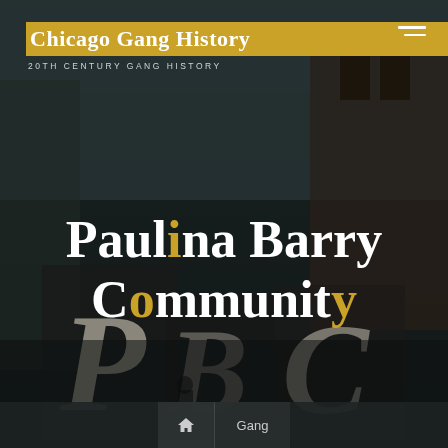Chicago Gang History
20TH CENTURY GANG HISTORY
[Figure (photo): Dark moody photograph of a brick building wall with gothic-style graffiti letters P, B, C painted as murals, dark teal/grey sky background]
Paulina Barry Community
Home / Gang